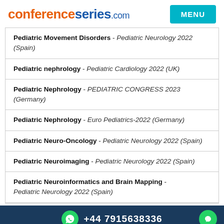conferenceseries.com
Pediatric Movement Disorders - Pediatric Neurology 2022 (Spain)
Pediatric nephrology - Pediatric Cardiology 2022 (UK)
Pediatric Nephrology - PEDIATRIC CONGRESS 2023 (Germany)
Pediatric Nephrology - Euro Pediatrics-2022 (Germany)
Pediatric Neuro-Oncology - Pediatric Neurology 2022 (Spain)
Pediatric Neuroimaging - Pediatric Neurology 2022 (Spain)
Pediatric Neuroinformatics and Brain Mapping - Pediatric Neurology 2022 (Spain)
+44 7915638336
(Spain)